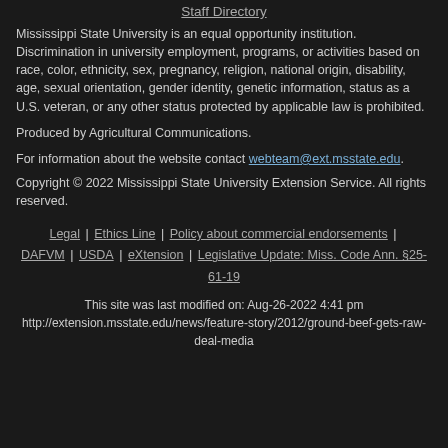Staff Directory
Mississippi State University is an equal opportunity institution. Discrimination in university employment, programs, or activities based on race, color, ethnicity, sex, pregnancy, religion, national origin, disability, age, sexual orientation, gender identity, genetic information, status as a U.S. veteran, or any other status protected by applicable law is prohibited.
Produced by Agricultural Communications.
For information about the website contact webteam@ext.msstate.edu.
Copyright © 2022 Mississippi State University Extension Service. All rights reserved.
Legal | Ethics Line | Policy about commercial endorsements | DAFVM | USDA | eXtension | Legislative Update: Miss. Code Ann. §25-61-19
This site was last modified on: Aug-26-2022 4:41 pm
http://extension.msstate.edu/news/feature-story/2012/ground-beef-gets-raw-deal-media